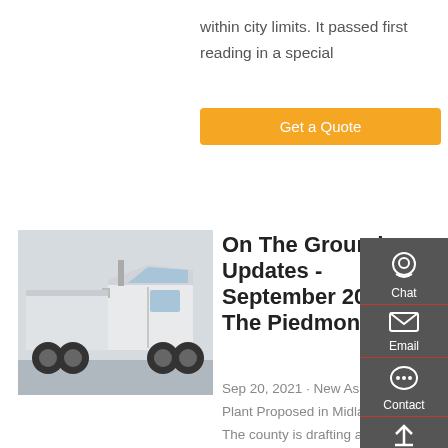within city limits. It passed first reading in a special
Get a Quote
[Figure (photo): White semi-truck / tractor unit parked in a lot, side view, overcast sky]
On The Ground Updates - September 2021 - The Piedmont
Sep 20, 2021 · New Asphalt Plant Proposed in Midland. The county is drafting a zoning ordinance amendment, adding two categories of short-term (under 30 days) residential